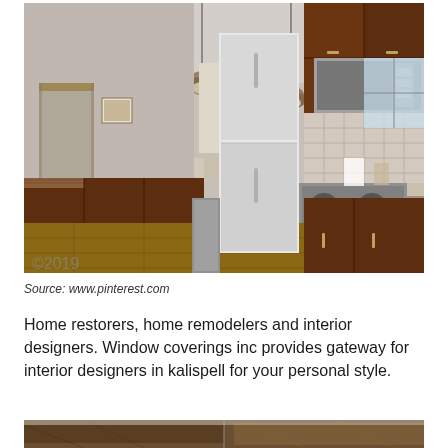[Figure (photo): Interior kitchen photo showing a modern kitchen with dark cherry wood cabinets, stainless steel appliances including refrigerator, range and microwave, granite countertops, a large farmhouse sink, pendant lights, and hardwood floors. The view extends to an open living/dining area.]
Source: www.pinterest.com
Home restorers, home remodelers and interior designers. Window coverings inc provides gateway for interior designers in kalispell for your personal style.
[Figure (photo): Partial bottom photo showing another interior view, likely of a kitchen or dining area with wooden beam ceiling elements.]